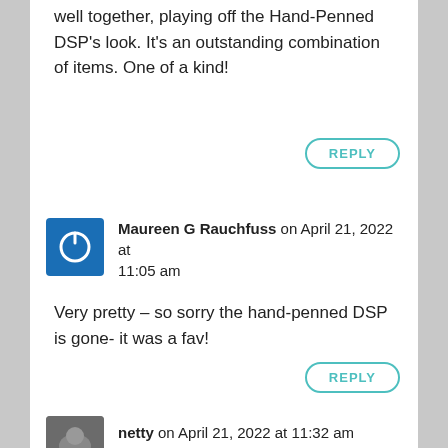well together, playing off the Hand-Penned DSP's look. It's an outstanding combination of items. One of a kind!
REPLY
Maureen G Rauchfuss on April 21, 2022 at 11:05 am
Very pretty – so sorry the hand-penned DSP is gone- it was a fav!
REPLY
netty on April 21, 2022 at 11:32 am
Yes, an all-time fav, thanks Maureen.
REPLY